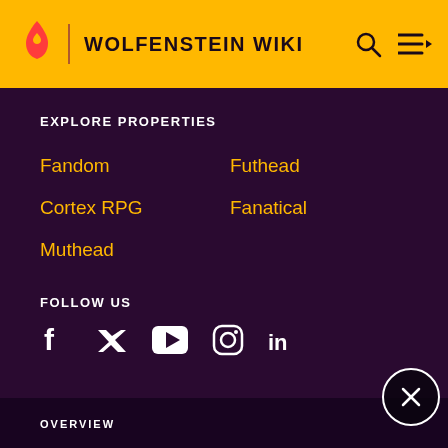WOLFENSTEIN WIKI
EXPLORE PROPERTIES
Fandom
Futhead
Cortex RPG
Fanatical
Muthead
FOLLOW US
[Figure (infographic): Social media icons: Facebook, Twitter, YouTube, Instagram, LinkedIn]
OVERVIEW
What is Fandom?
Terms of Use
About
Privacy Policy